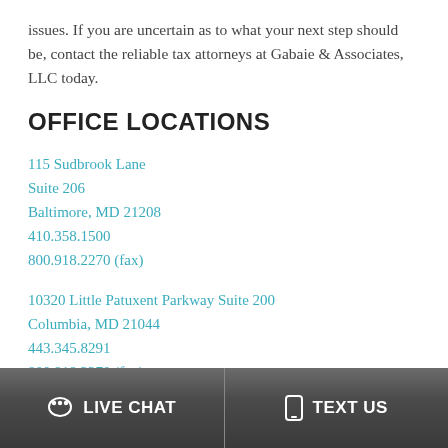issues. If you are uncertain as to what your next step should be, contact the reliable tax attorneys at Gabaie & Associates, LLC today.
OFFICE LOCATIONS
115 Sudbrook Lane
Suite 206
Baltimore, MD 21208
410.358.1500
800.918.2270 (fax)
10320 Little Patuxent Parkway Suite 200
Columbia, MD 21044
443.345.8291
800.918.2270 (fax)
LIVE CHAT  |  TEXT US